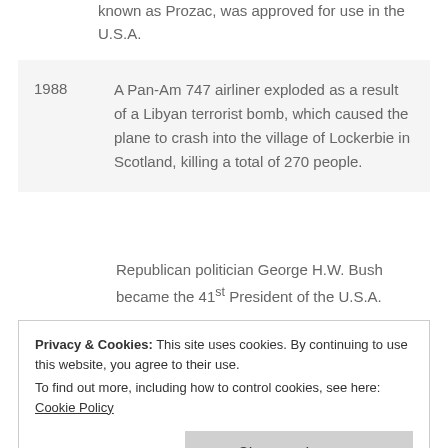known as Prozac, was approved for use in the U.S.A.
1988 — A Pan-Am 747 airliner exploded as a result of a Libyan terrorist bomb, which caused the plane to crash into the village of Lockerbie in Scotland, killing a total of 270 people.
Republican politician George H.W. Bush became the 41st President of the U.S.A.
The pro-democracy protest in Tiananmen Square, Beijing was brutally crushed by Communist Chinese authorities, resulting in many deaths and widespread years after invading the country.
Privacy & Cookies: This site uses cookies. By continuing to use this website, you agree to their use. To find out more, including how to control cookies, see here: Cookie Policy
Close and accept